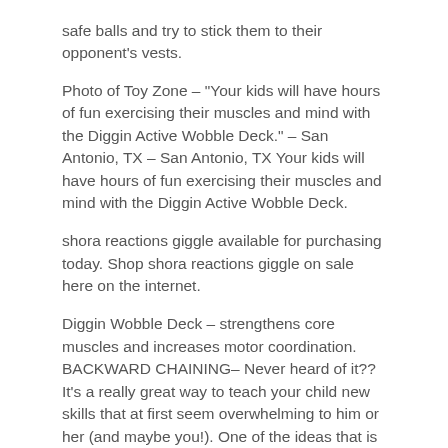safe balls and try to stick them to their opponent's vests.
Photo of Toy Zone – "Your kids will have hours of fun exercising their muscles and mind with the Diggin Active Wobble Deck." – San Antonio, TX – San Antonio, TX Your kids will have hours of fun exercising their muscles and mind with the Diggin Active Wobble Deck.
shora reactions giggle available for purchasing today. Shop shora reactions giggle on sale here on the internet.
Diggin Wobble Deck – strengthens core muscles and increases motor coordination. BACKWARD CHAINING– Never heard of it?? It's a really great way to teach your child new skills that at first seem overwhelming to him or her (and maybe you!). One of the ideas that is very important to occupational therapy is the belief that MASTERY or SUCCESS with a skill or task is crucial to a person (in this